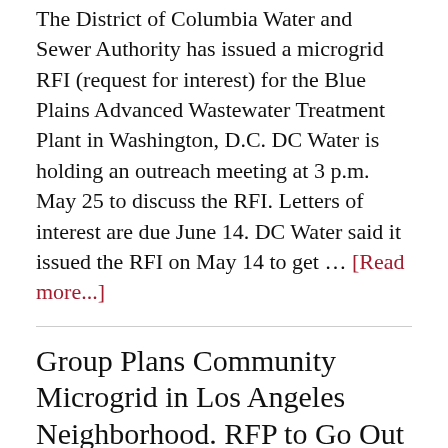The District of Columbia Water and Sewer Authority has issued a microgrid RFI (request for interest) for the Blue Plains Advanced Wastewater Treatment Plant in Washington, D.C. DC Water is holding an outreach meeting at 3 p.m. May 25 to discuss the RFI. Letters of interest are due June 14. DC Water said it issued the RFI on May 14 to get … [Read more...]
Group Plans Community Microgrid in Los Angeles Neighborhood. RFP to Go Out this Year
May 24, 2021 By Ethan Howland